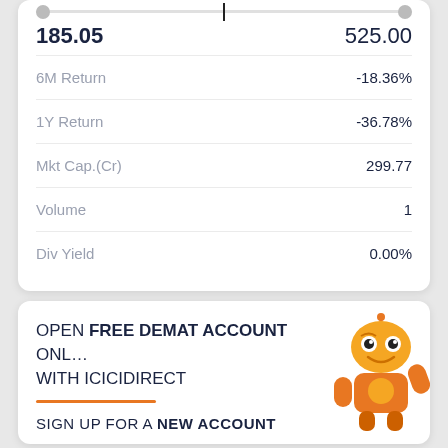| Metric | Value |
| --- | --- |
|  | 185.05 / 525.00 |
| 6M Return | -18.36% |
| 1Y Return | -36.78% |
| Mkt Cap.(Cr) | 299.77 |
| Volume | 1 |
| Div Yield | 0.00% |
[Figure (illustration): Orange robot mascot for ICICIdirect promotional banner]
OPEN FREE DEMAT ACCOUNT ONLINE WITH ICICIDIRECT
SIGN UP FOR A NEW ACCOUNT